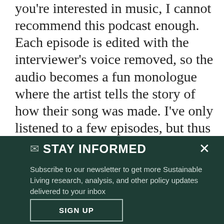you're interested in music, I cannot recommend this podcast enough. Each episode is edited with the interviewer's voice removed, so the audio becomes a fun monologue where the artist tells the story of how their song was made. I've only listened to a few episodes, but thus far each one has been gorgeously produced and surprisingly intimate. The Fleet Foxes episode is here, but there are over a
✉ STAY INFORMED
Subscribe to our newsletter to get more Sustainable Living research, analysis, and other policy updates delivered to your inbox
SIGN UP